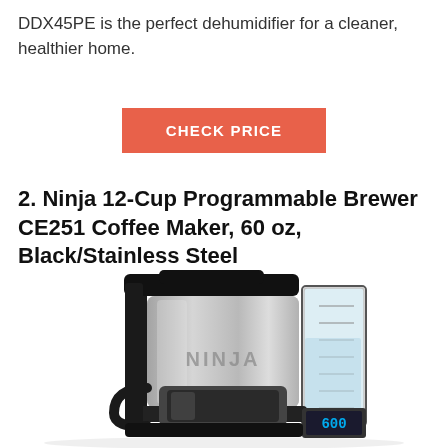DDX45PE is the perfect dehumidifier for a cleaner, healthier home.
CHECK PRICE
2. Ninja 12-Cup Programmable Brewer CE251 Coffee Maker, 60 oz, Black/Stainless Steel
[Figure (photo): Ninja 12-Cup Programmable Coffee Maker CE251 with stainless steel thermal carafe and water reservoir with measurement markings, showing 60 oz capacity and digital display.]